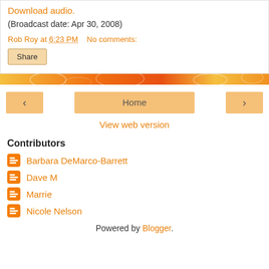Download audio.
(Broadcast date: Apr 30, 2008)
Rob Roy at 6:23 PM    No comments:
Share
[Figure (infographic): Decorative orange and yellow swirling pattern banner]
< Home >
View web version
Contributors
Barbara DeMarco-Barrett
Dave M
Marrie
Nicole Nelson
Powered by Blogger.